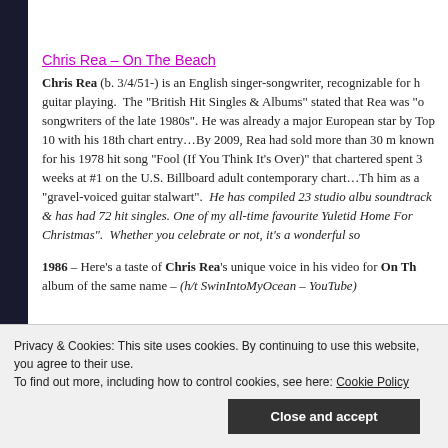Chris Rea – On The Beach
Chris Rea (b. 3/4/51-) is an English singer-songwriter, recognizable for his guitar playing.  The "British Hit Singles & Albums" stated that Rea was "one of the songwriters of the late 1980s". He was already a major European star by the Top 10 with his 18th chart entry…By 2009, Rea had sold more than 30 m known for his 1978 hit song "Fool (If You Think It's Over)" that chartered spent 3 weeks at #1 on the U.S. Billboard adult contemporary chart…The him as a "gravel-voiced guitar stalwart".  He has compiled 23 studio albu soundtrack & has had 72 hit singles. One of my all-time favourite Yuletid Home For Christmas".  Whether you celebrate or not, it's a wonderful so
1986 – Here's a taste of Chris Rea's unique voice in his video for On Th album of the same name – (h/t SwinIntoMyOcean – YouTube)
Privacy & Cookies: This site uses cookies. By continuing to use this website, you agree to their use.
To find out more, including how to control cookies, see here: Cookie Policy
Close and accept